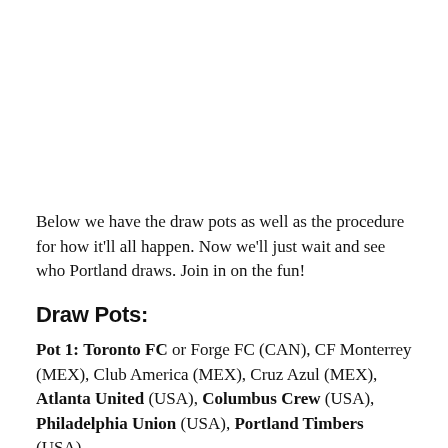Below we have the draw pots as well as the procedure for how it'll all happen. Now we'll just wait and see who Portland draws. Join in on the fun!
Draw Pots:
Pot 1: Toronto FC or Forge FC (CAN), CF Monterrey (MEX), Club America (MEX), Cruz Azul (MEX), Atlanta United (USA), Columbus Crew (USA), Philadelphia Union (USA), Portland Timbers (USA)